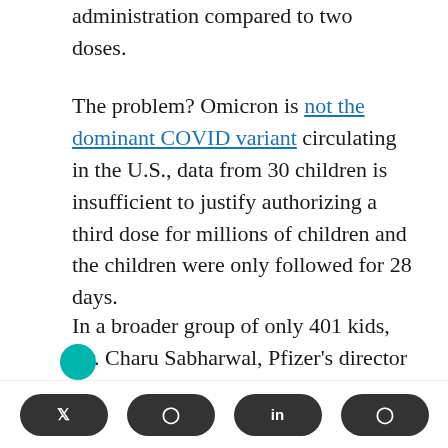administration compared to two doses.
The problem? Omicron is not the dominant COVID variant circulating in the U.S., data from 30 children is insufficient to justify authorizing a third dose for millions of children and the children were only followed for 28 days.
In a broader group of only 401 kids, Dr. Charu Sabharwal, Pfizer's director of vaccine clinical research said most adverse reactions to the third dose were mild to moderate, with fatigue and headache most commonly reported. Some children
Twitter, Facebook, LinkedIn, Pinterest social share buttons